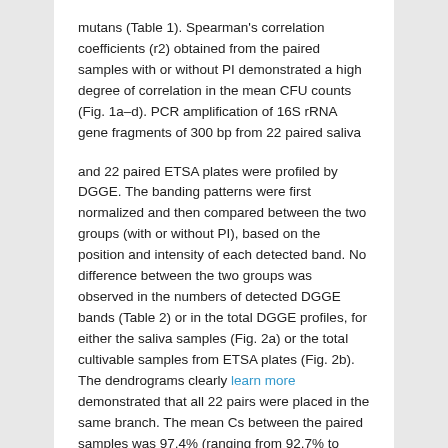mutans (Table 1). Spearman's correlation coefficients (r2) obtained from the paired samples with or without PI demonstrated a high degree of correlation in the mean CFU counts (Fig. 1a–d). PCR amplification of 16S rRNA gene fragments of 300 bp from 22 paired saliva
and 22 paired ETSA plates were profiled by DGGE. The banding patterns were first normalized and then compared between the two groups (with or without PI), based on the position and intensity of each detected band. No difference between the two groups was observed in the numbers of detected DGGE bands (Table 2) or in the total DGGE profiles, for either the saliva samples (Fig. 2a) or the total cultivable samples from ETSA plates (Fig. 2b). The dendrograms clearly learn more demonstrated that all 22 pairs were placed in the same branch. The mean Cs between the paired samples was 97.4% (ranging from 92.7% to 100%) for the buy SGI-1776 saliva samples and 95.8% (ranging from 85.7% to 100%) for the total cultivable